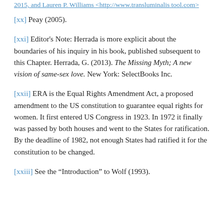[xx] Peay (2005).
[xxi] Editor's Note: Herrada is more explicit about the boundaries of his inquiry in his book, published subsequent to this Chapter. Herrada, G. (2013). The Missing Myth; A new vision of same-sex love. New York: SelectBooks Inc.
[xxii] ERA is the Equal Rights Amendment Act, a proposed amendment to the US constitution to guarantee equal rights for women. It first entered US Congress in 1923. In 1972 it finally was passed by both houses and went to the States for ratification. By the deadline of 1982, not enough States had ratified it for the constitution to be changed.
[xxiii] See the “Introduction” to Wolf (1993).